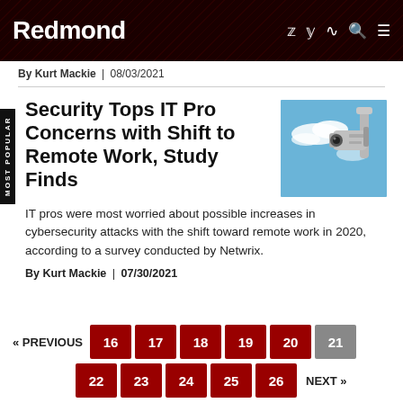Redmond
By Kurt Mackie | 08/03/2021
Security Tops IT Pro Concerns with Shift to Remote Work, Study Finds
[Figure (photo): Security camera mounted against a blue sky with clouds]
IT pros were most worried about possible increases in cybersecurity attacks with the shift toward remote work in 2020, according to a survey conducted by Netwrix.
By Kurt Mackie | 07/30/2021
« PREVIOUS  16  17  18  19  20  21  22  23  24  25  26  NEXT »